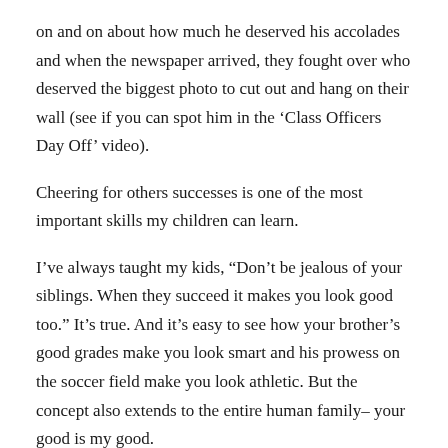on and on about how much he deserved his accolades and when the newspaper arrived, they fought over who deserved the biggest photo to cut out and hang on their wall (see if you can spot him in the ‘Class Officers Day Off’ video).
Cheering for others successes is one of the most important skills my children can learn.
I’ve always taught my kids, “Don’t be jealous of your siblings. When they succeed it makes you look good too.” It’s true. And it’s easy to see how your brother’s good grades make you look smart and his prowess on the soccer field make you look athletic. But the concept also extends to the entire human family– your good is my good.
People often look at life as a pie– if you get a big slice, there won’t be enough for me. But life truly resembles an eternally replenishing banquet table with enough variety and abundance of good things for all.